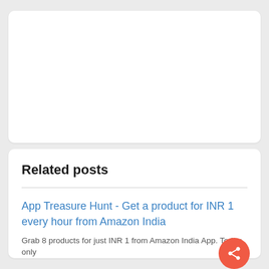[Figure (other): White card area at top, empty content region]
Related posts
App Treasure Hunt - Get a product for INR 1 every hour from Amazon India
Grab 8 products for just INR 1 from Amazon India App. Today only